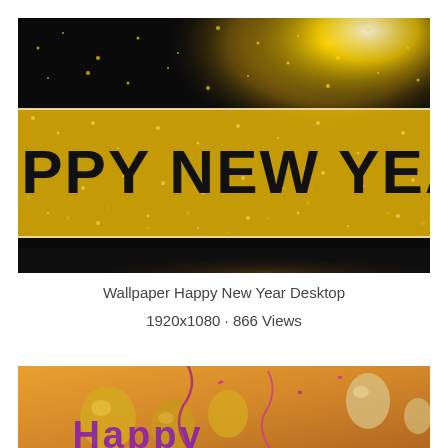[Figure (photo): Happy New Year wallpaper image with gold glitter on black background and bold black text 'HAPPY NEW YEAR' on a bright gold banner]
Wallpaper Happy New Year Desktop
1920x1080 · 866 Views
[Figure (photo): Happy New Year wallpaper with golden/orange background, gold balloons, streamers, and partial text 'Happy' visible at bottom]